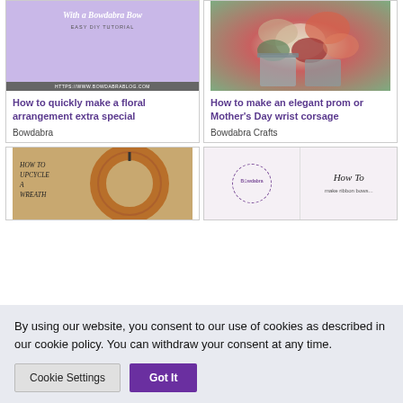[Figure (illustration): Card with purple background showing 'With a Bowdabra Bow', 'EASY DIY TUTORIAL', and 'HTTPS://WWW.BOWDABRABLOG.COM']
How to quickly make a floral arrangement extra special
Bowdabra
[Figure (photo): Photo of flowers in metal buckets]
How to make an elegant prom or Mother's Day wrist corsage
Bowdabra Crafts
[Figure (photo): How to upcycle a wreath - brown/copper wreath image]
[Figure (illustration): Bowdabra logo circle with 'How To make ribbon bows' text]
By using our website, you consent to our use of cookies as described in our cookie policy. You can withdraw your consent at any time.
Cookie Settings
Got It